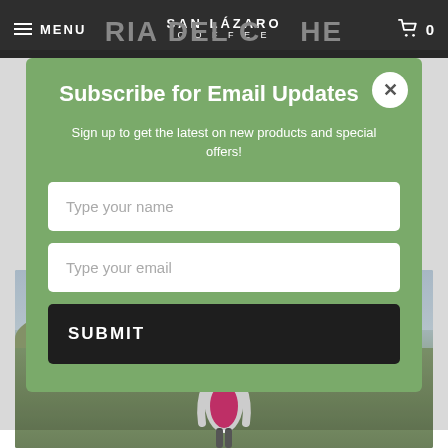MENU | SAN LÁZARO COFFEE | 0
Subscribe for Email Updates
Sign up to get the latest on new products and special offers!
Type your name
Type your email
SUBMIT
[Figure (photo): Outdoor photo of a woman in a pink top and white jacket smiling, standing in a parking/landscape area with trees in background]